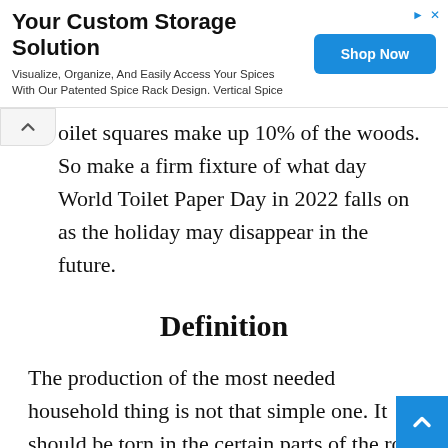[Figure (other): Advertisement banner: 'Your Custom Storage Solution - Visualize, Organize, And Easily Access Your Spices With Our Patented Spice Rack Design. Vertical Spice' with a blue 'Shop Now' button]
…toilet squares make up 10% of the woods. So make a firm fixture of what day World Toilet Paper Day in 2022 falls on as the holiday may disappear in the future.
Definition
The production of the most needed household thing is not that simple one. It should be torn in the certain parts of the roll yet be durable and soft at the same time. Besides, it should be